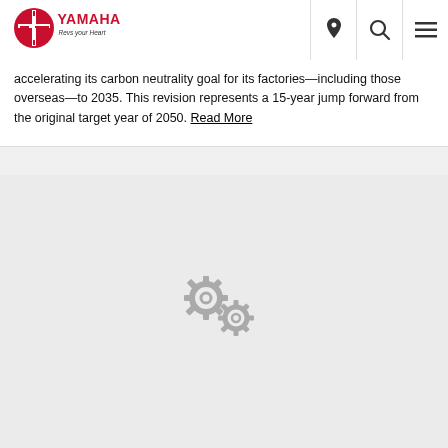YAMAHA - Revs your Heart
accelerating its carbon neutrality goal for its factories—including those overseas—to 2035. This revision represents a 15-year jump forward from the original target year of 2050. Read More
[Figure (illustration): Two interlocked gray gear icons representing a loading or settings state on a gray background]